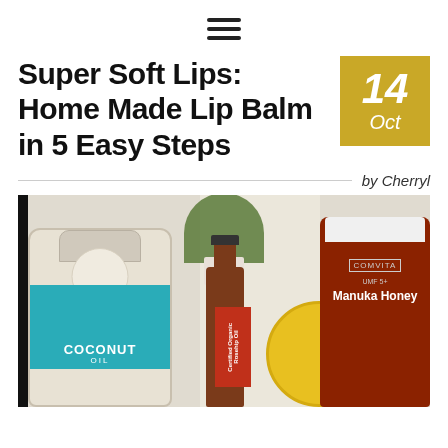☰ (hamburger menu icon)
Super Soft Lips: Home Made Lip Balm in 5 Easy Steps
14 Oct
by Cherryl
[Figure (photo): Flat-lay photograph of lip balm ingredients on a kitchen counter: a jar of coconut oil, a small amber bottle of certified organic rosehip oil, a round yellow container, and a jar of Comvita Manuka Honey, with a potted herb plant in the background.]